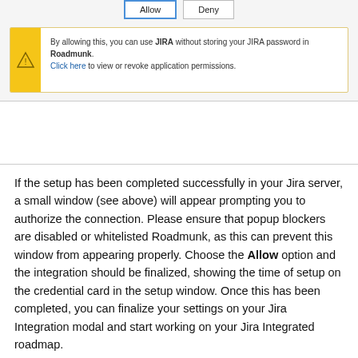[Figure (screenshot): Screenshot of a browser dialog with Allow and Deny buttons, and a yellow warning box stating: By allowing this, you can use JIRA without storing your JIRA password in Roadmunk. Click here to view or revoke application permissions.]
If the setup has been completed successfully in your Jira server, a small window (see above) will appear prompting you to authorize the connection. Please ensure that popup blockers are disabled or whitelisted Roadmunk, as this can prevent this window from appearing properly. Choose the Allow option and the integration should be finalized, showing the time of setup on the credential card in the setup window. Once this has been completed, you can finalize your settings on your Jira Integration modal and start working on your Jira Integrated roadmap.